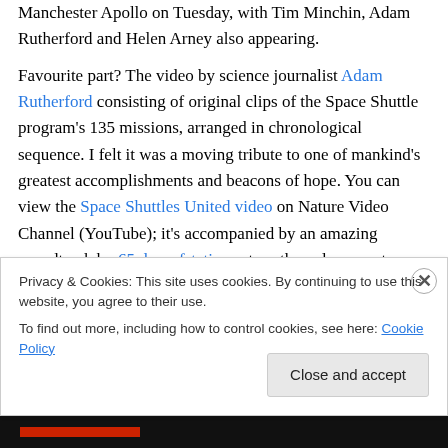Manchester Apollo on Tuesday, with Tim Minchin, Adam Rutherford and Helen Arney also appearing.

Favourite part? The video by science journalist Adam Rutherford consisting of original clips of the Space Shuttle program's 135 missions, arranged in chronological sequence. I felt it was a moving tribute to one of mankind's greatest accomplishments and beacons of hope. You can view the Space Shuttles United video on Nature Video Channel (YouTube); it's accompanied by an amazing soundtrack by 65 daysofstatic, so turn the volume up to 11
Privacy & Cookies: This site uses cookies. By continuing to use this website, you agree to their use.
To find out more, including how to control cookies, see here: Cookie Policy
Close and accept